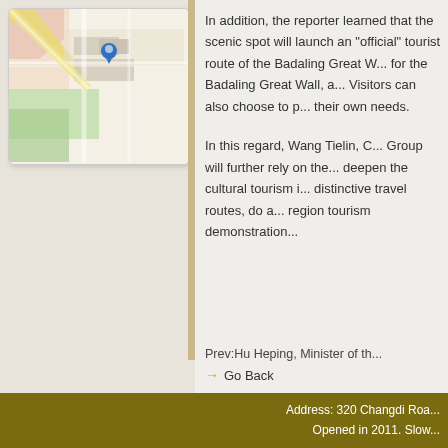[Figure (map): A street map showing roads and a blue location pin marker, with colored areas including green and pink regions.]
In addition, the reporter learned that the scenic spot will launch an "official" tourist route of the Badaling Great Wall, a slow walk for the Badaling Great Wall, and a fast walk. Visitors can also choose to plan according to their own needs.
In this regard, Wang Tielin, C... Group will further rely on the... deepen the cultural tourism i... distinctive travel routes, do a... region tourism demonstration...
Prev:Hu Heping, Minister of th...
→ Go Back
Address: 320 Changdi Roa...
Opened in 2011. Slow...